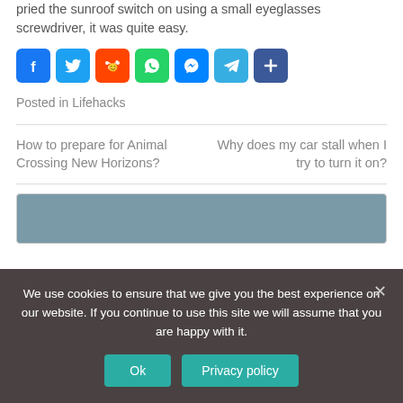pried the sunroof switch on using a small eyeglasses screwdriver, it was quite easy.
[Figure (infographic): Social sharing icons: Facebook, Twitter, Reddit, WhatsApp, Messenger, Telegram, Share]
Posted in Lifehacks
How to prepare for Animal Crossing New Horizons?
Why does my car stall when I try to turn it on?
[Figure (screenshot): Comment box area with teal/grey background]
We use cookies to ensure that we give you the best experience on our website. If you continue to use this site we will assume that you are happy with it.